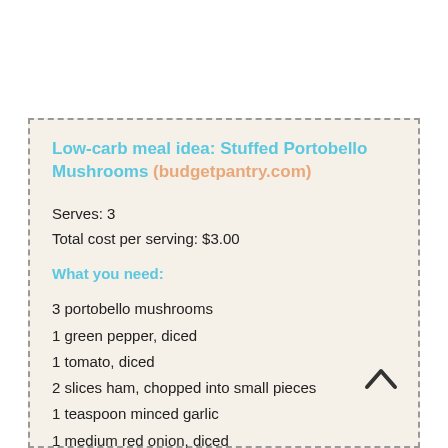Low-carb meal idea: Stuffed Portobello Mushrooms (budgetpantry.com)
Serves: 3
Total cost per serving: $3.00
What you need:
3 portobello mushrooms
1 green pepper, diced
1 tomato, diced
2 slices ham, chopped into small pieces
1 teaspoon minced garlic
1 medium red onion, diced
Half teaspoon truffle salt
A dash of black pepper